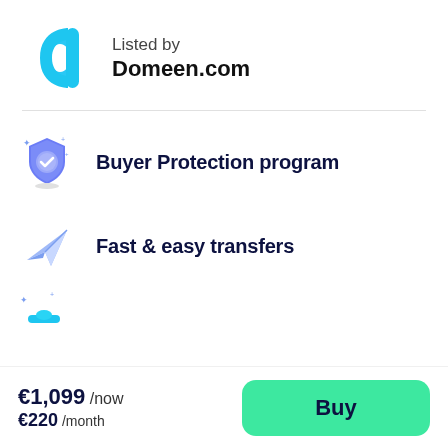[Figure (logo): Domeen.com logo: a cyan/blue rounded letter 'd' shape]
Listed by
Domeen.com
[Figure (illustration): Shield icon with checkmark representing Buyer Protection program]
Buyer Protection program
[Figure (illustration): Paper airplane icon representing Fast & easy transfers]
Fast & easy transfers
[Figure (illustration): Partially visible icon with sparkles, third feature row]
€1,099 /now
€220 /month
Buy